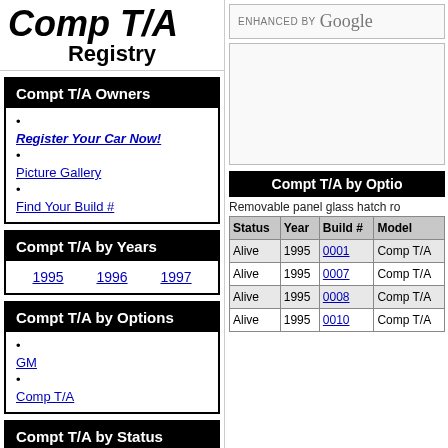Comp T/A Registry
Compt T/A Owners
Register Your Car Now!
Picture Gallery
Find Your Build #
Compt T/A by Years
1995  1996  1997
Compt T/A by Options
GM
Comp T/A
Compt T/A by Status
Salvage
Alive
Totaled
Compt T/A by Options
Removable panel glass hatch ro
| Status | Year | Build # | Model |
| --- | --- | --- | --- |
| Alive | 1995 | 0001 | Comp T/A |
| Alive | 1995 | 0007 | Comp T/A |
| Alive | 1995 | 0008 | Comp T/A |
| Alive | 1995 | 0010 | Comp T/A |